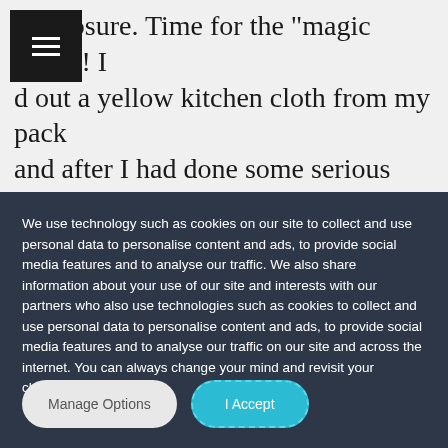r exposure. Time for the “magic cloth”! I d out a yellow kitchen cloth from my pack and after I had done some serious compositional thinking, I held the cloth over the sky and opened the shutter. After a little over 100 seconds, I removed the cloth and let
We use technology such as cookies on our site to collect and use personal data to personalise content and ads, to provide social media features and to analyse our traffic. We also share information about your use of our site and interests with our partners who also use technologies such as cookies to collect and use personal data to personalise content and ads, to provide social media features and to analyse our traffic on our site and across the internet. You can always change your mind and revisit your choices.